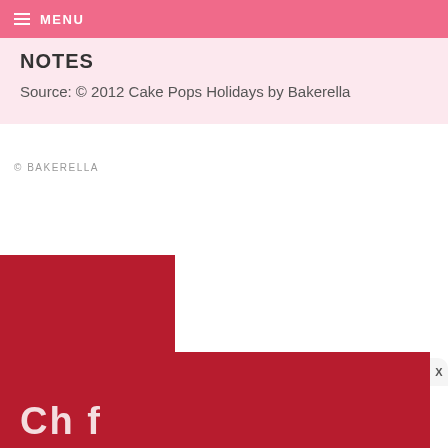MENU
NOTES
Source: © 2012 Cake Pops Holidays by Bakerella
© BAKERELLA
[Figure (other): Red advertisement block partially visible at bottom of page with white text and a close button marked X]